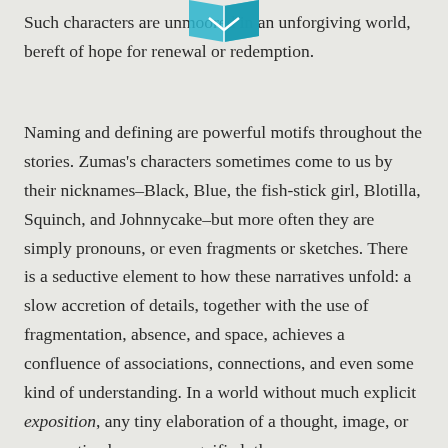[Figure (logo): Teal/blue decorative book or open pages logo at top center of page]
Such characters are unmoored in an unforgiving world, bereft of hope for renewal or redemption.
Naming and defining are powerful motifs throughout the stories. Zumas’s characters sometimes come to us by their nicknames–Black, Blue, the fish-stick girl, Blotilla, Squinch, and Johnnycake–but more often they are simply pronouns, or even fragments or sketches. There is a seductive element to how these narratives unfold: a slow accretion of details, together with the use of fragmentation, absence, and space, achieves a confluence of associations, connections, and even some kind of understanding. In a world without much explicit exposition, any tiny elaboration of a thought, image, or perspective becomes magnified: the